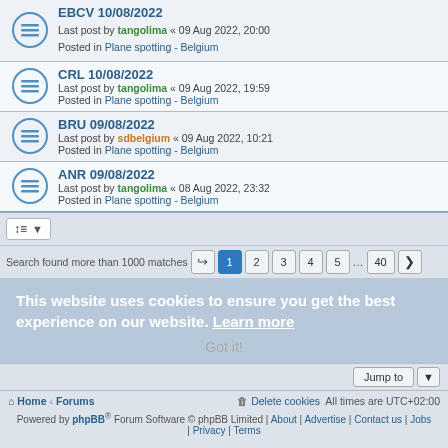EBCV 10/08/2022 - Last post by tangolima « 09 Aug 2022, 20:00 - Posted in Plane spotting - Belgium
CRL 10/08/2022 - Last post by tangolima « 09 Aug 2022, 19:59 - Posted in Plane spotting - Belgium
BRU 09/08/2022 - Last post by sdbelgium « 09 Aug 2022, 10:21 - Posted in Plane spotting - Belgium
ANR 09/08/2022 - Last post by tangolima « 08 Aug 2022, 23:32 - Posted in Plane spotting - Belgium
Search found more than 1000 matches  1 2 3 4 5 ... 40 >
This website uses cookies to ensure you get the best experience on our website. Learn more
Got it!
Home · Forums · Delete cookies  All times are UTC+02:00
Powered by phpBB® Forum Software © phpBB Limited | About | Advertise | Contact us | Jobs | Privacy | Terms